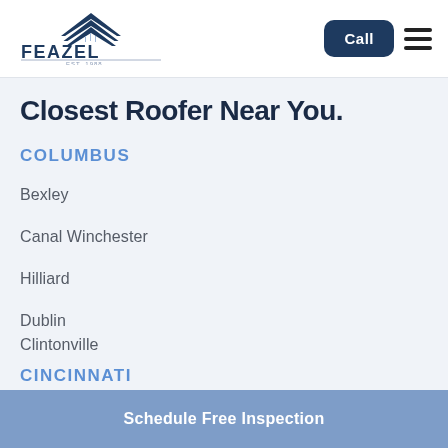[Figure (logo): Feazel logo with roof/chevron graphic above text FEAZEL EST. 1988]
Call
Closest Roofer Near You.
COLUMBUS
Bexley
Canal Winchester
Hilliard
Dublin
Clintonville
CINCINNATI
Schedule Free Inspection